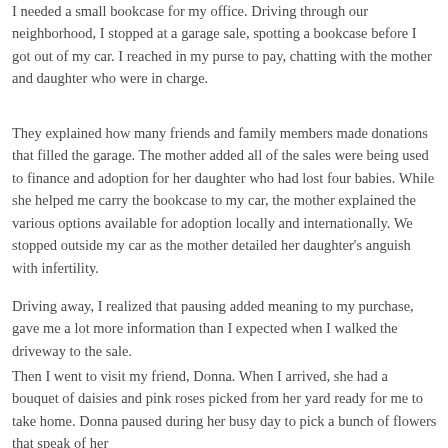I needed a small bookcase for my office. Driving through our neighborhood, I stopped at a garage sale, spotting a bookcase before I got out of my car. I reached in my purse to pay, chatting with the mother and daughter who were in charge.
They explained how many friends and family members made donations that filled the garage. The mother added all of the sales were being used to finance and adoption for her daughter who had lost four babies. While she helped me carry the bookcase to my car, the mother explained the various options available for adoption locally and internationally. We stopped outside my car as the mother detailed her daughter's anguish with infertility.
Driving away, I realized that pausing added meaning to my purchase, gave me a lot more information than I expected when I walked the driveway to the sale.
Then I went to visit my friend, Donna. When I arrived, she had a bouquet of daisies and pink roses picked from her yard ready for me to take home. Donna paused during her busy day to pick a bunch of flowers that speak of her